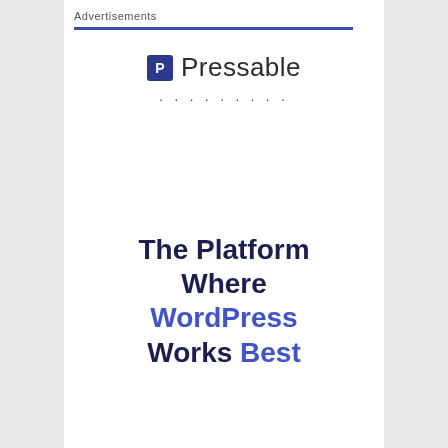Advertisements
[Figure (logo): Pressable logo: dark blue square with white 'P' icon followed by 'Pressable' text in dark grey]
. . . . . . . . .
The Platform Where WordPress Works Best
SEE PRICING